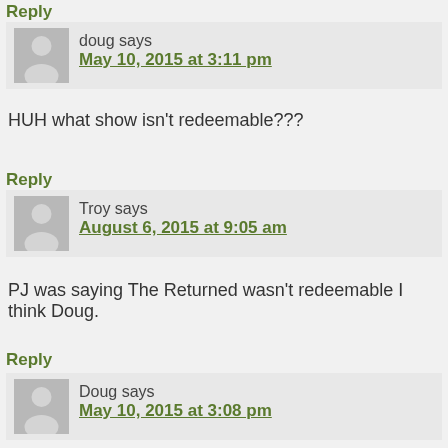Reply
doug says
May 10, 2015 at 3:11 pm
HUH what show isn't redeemable???
Reply
Troy says
August 6, 2015 at 9:05 am
PJ was saying The Returned wasn't redeemable I think Doug.
Reply
Doug says
May 10, 2015 at 3:08 pm